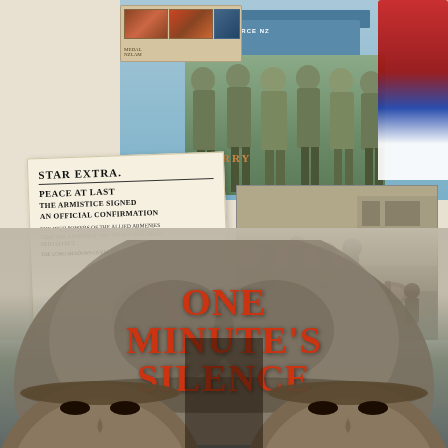[Figure (illustration): Book cover for 'One Minute's Silence' by Philippa Werry. Top collage shows stamps, soldiers in camouflage, an air hangar building, red/blue/white dress figure. Middle shows a newspaper clipping 'STAR EXTRA. PEACE AT LAST — THE ARMISTICE SIGNED — AN OFFICIAL CONFIRMATION', an Armistice badge/pin, and a historical sepia photo of street scene. Bottom section shows a large artistic illustration of WWI soldiers on an arc with two soldier faces/helmets and the title text 'ONE MINUTE'S SILENCE' in red.]
PHILIPPA WERRY
One Minute's Silence